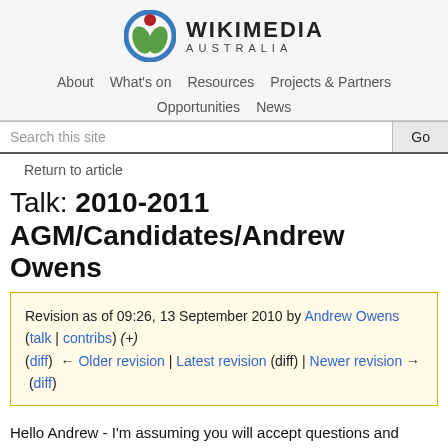[Figure (logo): Wikimedia Australia logo with circular emblem and text]
About   What's on   Resources   Projects & Partners   Opportunities   News
Search this site   Go
Return to article
Talk: 2010-2011 AGM/Candidates/Andrew Owens
Revision as of 09:26, 13 September 2010 by Andrew Owens (talk | contribs) (+)
(diff) ← Older revision | Latest revision (diff) | Newer revision → (diff)
Hello Andrew - I'm assuming you will accept questions and